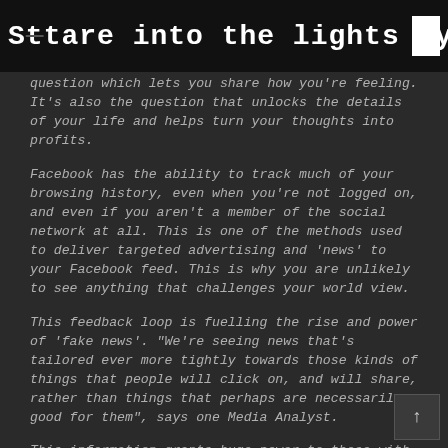Stare into the lights my pretties...
question which lets you share how you're feeling. It's also the question that unlocks the details of your life and helps turn your thoughts into profits.
Facebook has the ability to track much of your browsing history, even when you're not logged on, and even if you aren't a member of the social network at all. This is one of the methods used to deliver targeted advertising and 'news' to your Facebook feed. This is why you are unlikely to see anything that challenges your world view.
This feedback loop is fuelling the rise and power of 'fake news'. "We're seeing news that's tailored ever more tightly towards those kinds of things that people will click on, and will share, rather than things that perhaps are necessarily good for them", says one Media Analyst.
This information grants huge power to those with access to it. Republican Party strategist Patrick Ruffini says, "What it does give us is much greater level of certainty and granularity and precision down to the